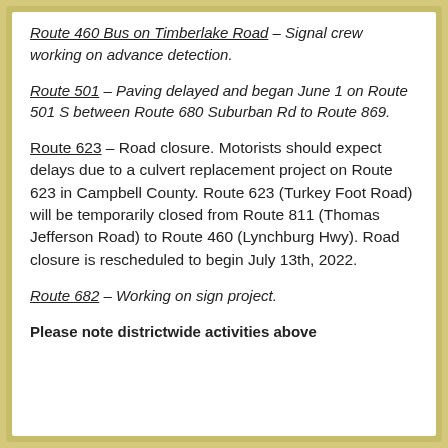Route 460 Bus on Timberlake Road – Signal crew working on advance detection.
Route 501 – Paving delayed and began June 1 on Route 501 S between Route 680 Suburban Rd to Route 869.
Route 623 – Road closure. Motorists should expect delays due to a culvert replacement project on Route 623 in Campbell County. Route 623 (Turkey Foot Road) will be temporarily closed from Route 811 (Thomas Jefferson Road) to Route 460 (Lynchburg Hwy). Road closure is rescheduled to begin July 13th, 2022.
Route 682 – Working on sign project.
Please note districtwide activities above